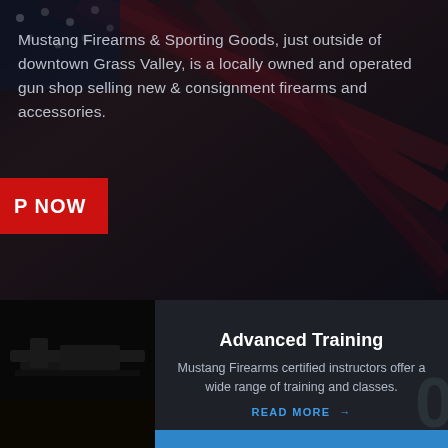[Figure (photo): Dark background image of an American flag on wood, heavily darkened with overlay]
Mustang Firearms & Sporting Goods, just outside of downtown Grass Valley, is a locally owned and operated gun shop selling new & consignment firearms and accessories.
P NOW
[Figure (photo): Dark image of firearms/gun equipment on left panel]
Advanced Training
Mustang Firearms certified instructors offer a wide range of training and classes.
READ MORE →